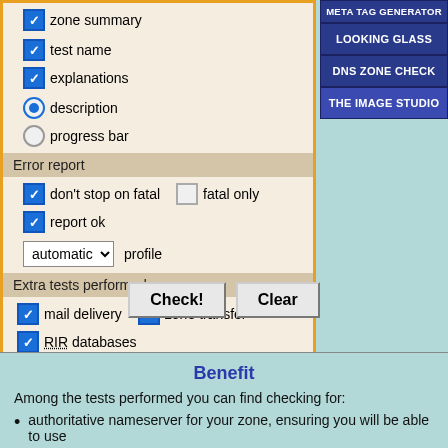[Figure (screenshot): Web form with checkboxes and radio buttons for DNS zone check options including zone summary, test name, explanations, description, progress bar, error report settings, extra tests, and transport layer settings]
zone summary
test name
explanations
description
progress bar
Error report
don't stop on fatal
fatal only
report ok
automatic   profile
Extra tests performed
mail delivery
zone transfer
RIR databases
Transport layer
IPv4
IPv6
STD
UDP
TCP
Check!   Clear
Benefit
Among the tests performed you can find checking for:
authoritative nameserver for your zone, ensuring you will be able to use